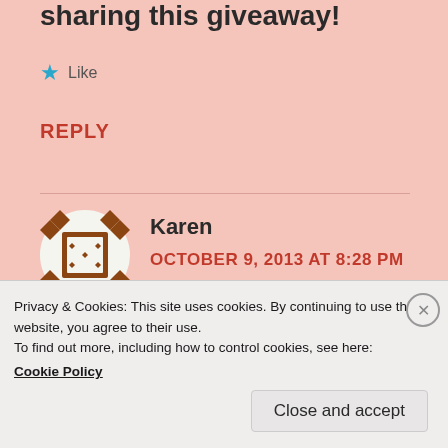sharing this giveaway!
★ Like
REPLY
Karen
OCTOBER 9, 2013 AT 8:28 PM
Privacy & Cookies: This site uses cookies. By continuing to use this website, you agree to their use.
To find out more, including how to control cookies, see here:
Cookie Policy
Close and accept